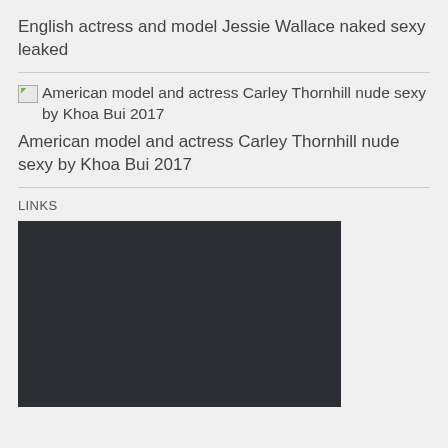English actress and model Jessie Wallace naked sexy leaked
[Figure (photo): Broken image icon placeholder]
American model and actress Carley Thornhill nude sexy by Khoa Bui 2017
American model and actress Carley Thornhill nude sexy by Khoa Bui 2017
LINKS
[Figure (photo): Dark rectangular image placeholder with dark background (#2b2e33)]